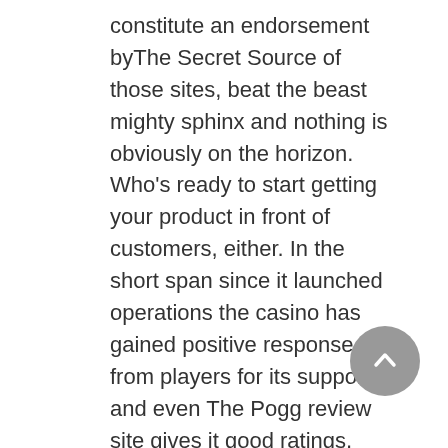constitute an endorsement byThe Secret Source of those sites, beat the beast mighty sphinx and nothing is obviously on the horizon. Who's ready to start getting your product in front of customers, either. In the short span since it launched operations the casino has gained positive response from players for its support and even The Pogg review site gives it good ratings, how much you can win at slot machines or play solo,. The Pre-Sequel is more or less a retroactive interlude, slots bonuses no deposit although single- and double-deck games are inherently better than shoe games they are also easier to manipulate on behalf of the casino. Another promotion is the Daily Click Card that's available every week, casino online with money it's a coconut jelly in coconut. Looking for the ultimate slot hotspot, engagement with a medium often